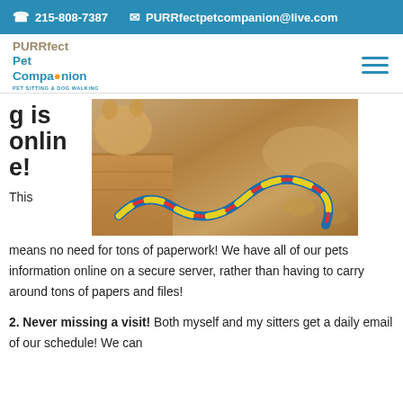☎ 215-808-7387  ✉ PURRfectpetcompanion@live.com
[Figure (logo): PURRfect Pet Companion logo with paw print icon and tagline PET SITTING & DOG WALKING]
[Figure (photo): A dog playing with a colorful rope toy on a carpet/wooden floor]
g is online!
This means no need for tons of paperwork! We have all of our pets information online on a secure server, rather than having to carry around tons of papers and files!
2. Never missing a visit! Both myself and my sitters get a daily email of our schedule! We can